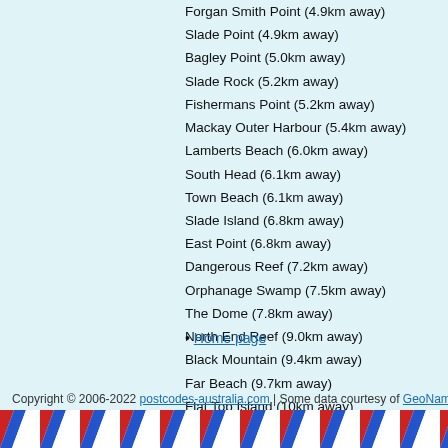Forgan Smith Point (4.9km away)
Slade Point (4.9km away)
Bagley Point (5.0km away)
Slade Rock (5.2km away)
Fishermans Point (5.2km away)
Mackay Outer Harbour (5.4km away)
Lamberts Beach (6.0km away)
South Head (6.1km away)
Town Beach (6.1km away)
Slade Island (6.8km away)
East Point (6.8km away)
Dangerous Reef (7.2km away)
Orphanage Swamp (7.5km away)
The Dome (7.8km away)
North End Reef (9.0km away)
Black Mountain (9.4km away)
Far Beach (9.7km away)
Flat Top Island (10km away)
Oyster Rock (11km away)
Shoal Point (11km away)
Falls Hill (11km away)
Taroba Rock (12km away)
• Home page
Copyright © 2006-2022 postcodes-australia.com | Some data courtesy of GeoNames, used unde